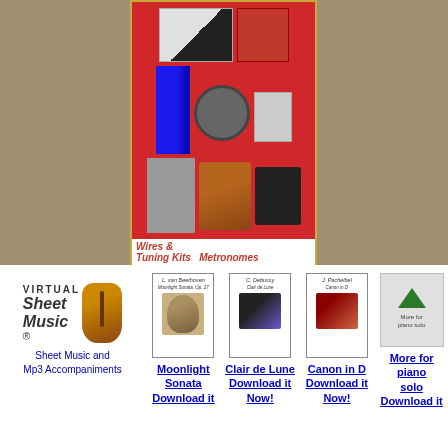[Figure (illustration): PianoSupplies.com advertisement banner showing piano accessories including piano keys/gloves, red tote bag, blue piano ruler/keyboard, clock, cup, tuning tools/wires, metronome, and digital tuner. Text reads 'Wires & Tuning Kits', 'Metronomes', 'Everything for the Musician', 'PianoSupplies.com', 'a division of PianoWorld.com']
[Figure (illustration): Virtual Sheet Music logo with violin graphic]
Sheet Music and Mp3 Accompaniments
[Figure (illustration): Sheet music cover for Beethoven Moonlight Sonata]
Moonlight Sonata Download it
[Figure (illustration): Sheet music cover for C. Debussy Clair de Lune]
Clair de Lune Download it Now!
[Figure (illustration): Sheet music cover for J. Pachelbel Canon in D]
Canon in D Download it Now!
[Figure (illustration): More for piano solo sheet music with upward arrow]
More for piano solo Download it